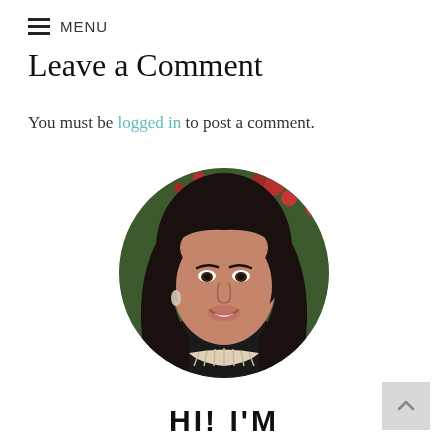MENU
Leave a Comment
You must be logged in to post a comment.
[Figure (photo): Circular portrait photo of a smiling woman with long dark hair, wearing a statement necklace, photographed outdoors with green foliage and red flowers in the background.]
HI! I'M